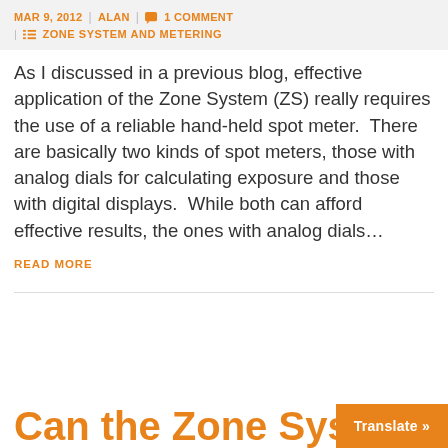MAR 9, 2012 | ALAN | 1 COMMENT | ZONE SYSTEM AND METERING
As I discussed in a previous blog, effective application of the Zone System (ZS) really requires the use of a reliable hand-held spot meter.  There are basically two kinds of spot meters, those with analog dials for calculating exposure and those with digital displays.  While both can afford effective results, the ones with analog dials…
READ MORE
Can the Zone System